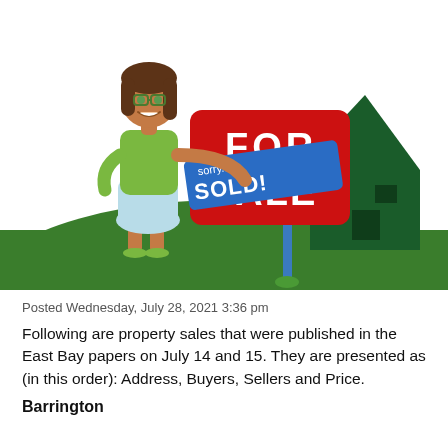[Figure (illustration): Cartoon illustration of a woman in a green top and light blue skirt standing on a green lawn next to a red 'FOR SALE' sign with a blue 'sorry... SOLD!' banner over it. A dark green house silhouette is visible in the background on the right.]
Posted Wednesday, July 28, 2021 3:36 pm
Following are property sales that were published in the East Bay papers on July 14 and 15. They are presented as (in this order): Address, Buyers, Sellers and Price.
Barrington